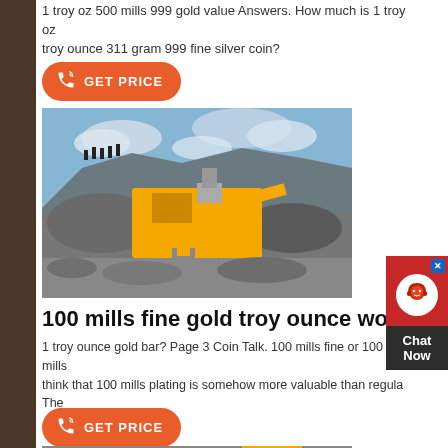1 troy oz 500 mills 999 gold value Answers. How much is 1 troy oz troy ounce 311 gram 999 fine silver coin?
[Figure (other): Orange GET PRICE button with phone icon]
[Figure (photo): Industrial yellow mining crusher equipment on a rocky hillside with workers on top and cloudy sky in background]
100 mills fine gold troy ounce worth
1 troy ounce gold bar? Page 3 Coin Talk. 100 mills fine or 100 mills think that 100 mills plating is somehow more valuable than regula The
[Figure (other): Orange GET PRICE button with phone icon]
[Figure (photo): Bottom portion of another mining equipment image]
[Figure (other): Chat Now widget on right side with red header, face icon, and dark body]